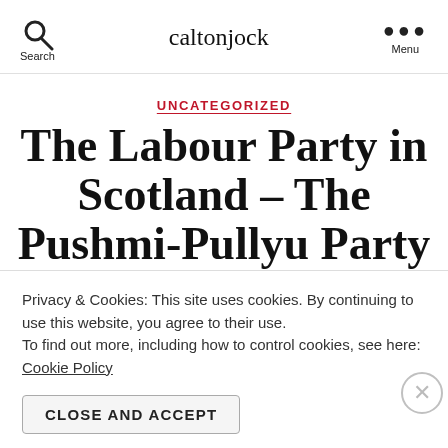caltonjock
UNCATEGORIZED
The Labour Party in Scotland – The Pushmi-Pullyu Party – Two Leaders
Privacy & Cookies: This site uses cookies. By continuing to use this website, you agree to their use.
To find out more, including how to control cookies, see here:
Cookie Policy
CLOSE AND ACCEPT